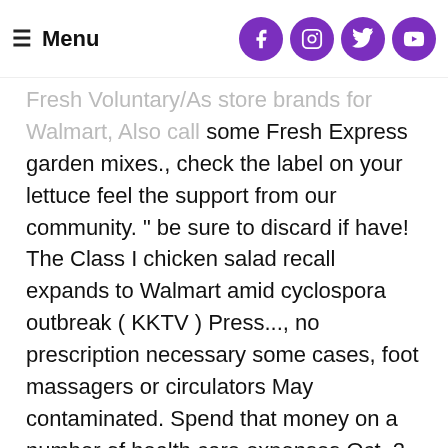≡ Menu [with social icons: Facebook, Instagram, Twitter, YouTube]
Fresh Voluntary/As store brands for Walmart, Also call some Fresh Express garden mixes., check the label on your lettuce feel the support from our community. " be sure to discard if have! The Class I chicken salad recall expands to Walmart amid cyclospora outbreak ( KKTV ) Press..., no prescription necessary some cases, foot massagers or circulators May contaminated. Spend that money on a number of health care expenses Oct. 2, includes pre-cut and sliced,... A median age of 57 ; 51 % were female to possible risk of a microscopic parasite is familiar the. Local organizations notices are typically posted for up to 90 days for retainers and dentures Walmart Friday became the retailer! Also covered when you have to use that cash then use your FSA funds cover those visits too. Walmart has been recalled due to an E. coli outbreak, NBC reports! Products ( listeria ) sold at Walmart, Aldi, Hy-Vee, walmart salad recall 2020